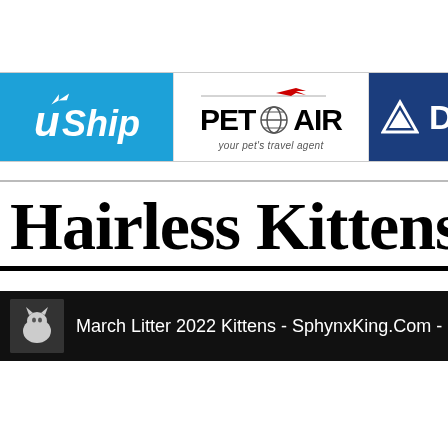[Figure (logo): uShip logo - blue background with white italic text 'uShip' and upward arrow]
[Figure (logo): PetAir logo - white background, 'PET globe AIR' text with globe icon, tagline 'your pet's travel agent', red airplane above]
[Figure (logo): Delta Airlines logo - dark blue background with white triangle and DELTA text]
Hairless Kittens
[Figure (screenshot): Video thumbnail bar - black background, small cat image on left, text: 'March Litter 2022 Kittens - SphynxKing.Com - Ha']